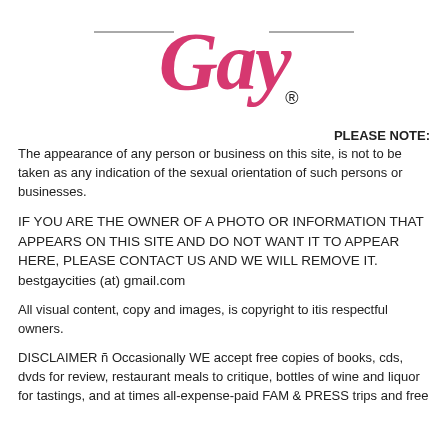[Figure (logo): Stylized cursive 'Gay' text logo in pink/red with registered trademark symbol, flanked by horizontal lines]
PLEASE NOTE:
The appearance of any person or business on this site, is not to be taken as any indication of the sexual orientation of such persons or businesses.
IF YOU ARE THE OWNER OF A PHOTO OR INFORMATION THAT APPEARS ON THIS SITE AND DO NOT WANT IT TO APPEAR HERE, PLEASE CONTACT US AND WE WILL REMOVE IT. bestgaycities (at) gmail.com
All visual content, copy and images, is copyright to itis respectful owners.
DISCLAIMER ñ Occasionally WE accept free copies of books, cds, dvds for review, restaurant meals to critique, bottles of wine and liquor for tastings, and at times all-expense-paid FAM & PRESS trips and free